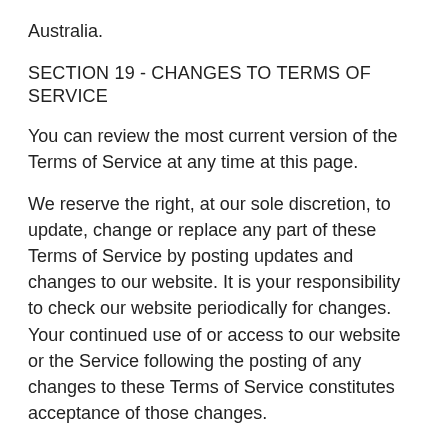Australia.
SECTION 19 - CHANGES TO TERMS OF SERVICE
You can review the most current version of the Terms of Service at any time at this page.
We reserve the right, at our sole discretion, to update, change or replace any part of these Terms of Service by posting updates and changes to our website. It is your responsibility to check our website periodically for changes. Your continued use of or access to our website or the Service following the posting of any changes to these Terms of Service constitutes acceptance of those changes.
SECTION 20 - CONTACT INFORMATION
Questions about the Terms of Service should be sent